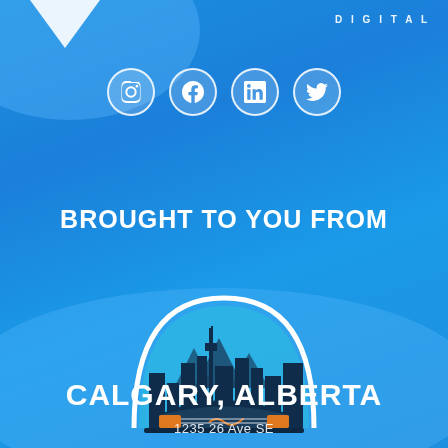[Figure (logo): White chevron/arrow logo pointing down, top left]
DIGITAL
[Figure (infographic): Row of four social media icons: Instagram, Facebook, LinkedIn, Twitter — white outlined circles on blue background]
BROUGHT TO YOU FROM
[Figure (illustration): Circular illustration of Calgary city skyline with Scotiabank Saddledome arena in foreground, dark navy buildings, white arch frame, teal/blue sky behind]
CALGARY, ALBERTA
1235 26 Ave SE